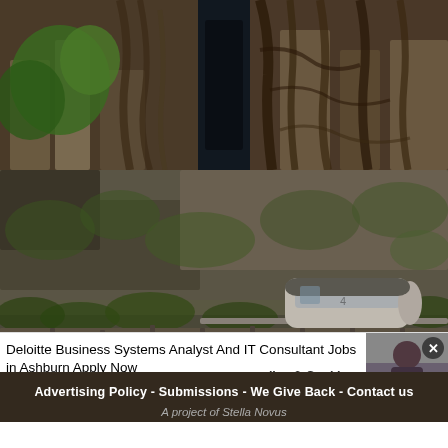Ancient Origins — Reconstructing the Story of Humanity's Past
[Figure (photo): Two-panel photo: left shows ancient temple ruins with large tree roots and lush green foliage; center panel shows a dark stone doorway/passage; right shows tree roots growing over stone structure.]
[Figure (photo): Photo of a modern monorail or funicular train car on a track built into a rocky cliff face covered in green moss and vegetation.]
Deloitte Business Systems Analyst And IT Consultant Jobs in Ashburn Apply Now
jobble.com
olicy & Cookies - Advertising Policy - Submissions - We Give Back - Contact us
A project of Stella Novus